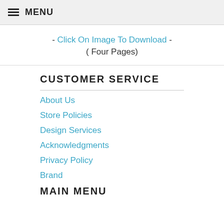≡ MENU
- Click On Image To Download -
( Four Pages)
CUSTOMER SERVICE
About Us
Store Policies
Design Services
Acknowledgments
Privacy Policy
Brand
MAIN MENU